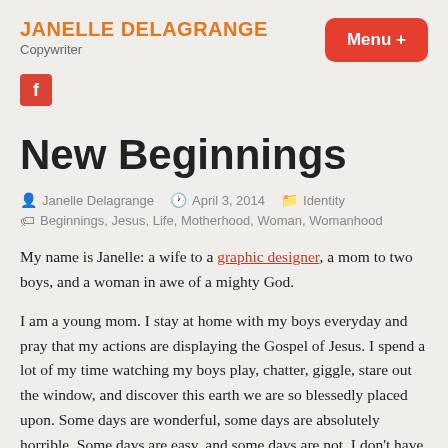JANELLE DELAGRANGE
Copywriter
[Figure (logo): Facebook icon - red square with white 'f' letter]
New Beginnings
Janelle Delagrange   April 3, 2014   Identity
Beginnings, Jesus, Life, Motherhood, Woman, Womanhood
My name is Janelle: a wife to a graphic designer, a mom to two boys, and a woman in awe of a mighty God.
I am a young mom. I stay at home with my boys everyday and pray that my actions are displaying the Gospel of Jesus. I spend a lot of my time watching my boys play, chatter, giggle, stare out the window, and discover this earth we are so blessedly placed upon. Some days are wonderful, some days are absolutely horrible. Some days are easy, and some days are not. I don't have